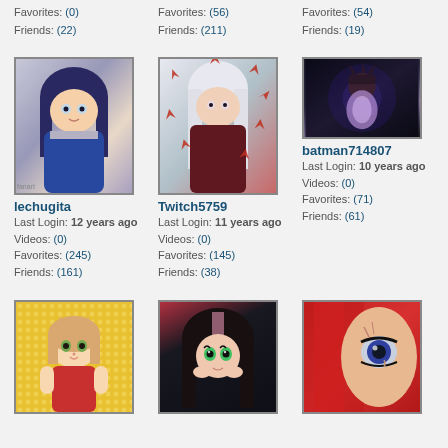Favorites: (0)
Friends: (22)
Favorites: (56)
Friends: (211)
Favorites: (54)
Friends: (19)
[Figure (illustration): Anime character with dark blue hair, bound]
lechugita
Last Login: 12 years ago
Videos: (0)
Favorites: (245)
Friends: (161)
[Figure (illustration): Anime character with white/silver hair among red maple leaves]
Twitch5759
Last Login: 11 years ago
Videos: (0)
Favorites: (145)
Friends: (38)
[Figure (illustration): Dark fantasy female character with glowing body]
batman714807
Last Login: 10 years ago
Videos: (0)
Favorites: (71)
Friends: (61)
[Figure (illustration): Chibi anime cat-girl character on yellow dotted background]
[Figure (illustration): Anime girl with pink hair and green eyes]
[Figure (illustration): Anime male character with red hair, close-up face]